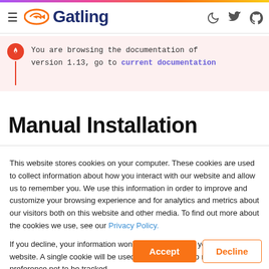Gatling
You are browsing the documentation of version 1.13, go to current documentation
Manual Installation
This website stores cookies on your computer. These cookies are used to collect information about how you interact with our website and allow us to remember you. We use this information in order to improve and customize your browsing experience and for analytics and metrics about our visitors both on this website and other media. To find out more about the cookies we use, see our Privacy Policy.
If you decline, your information won't be tracked when you visit this website. A single cookie will be used in your browser to remember your preference not to be tracked.